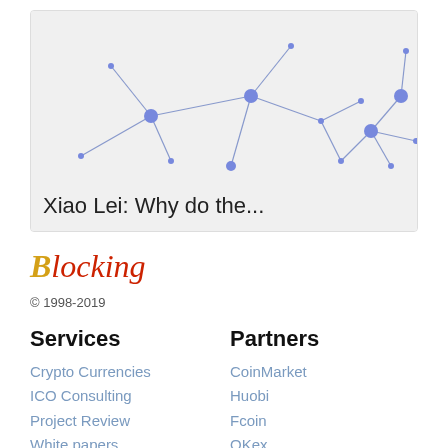[Figure (network-graph): Network graph with blue nodes connected by lines on light gray background]
Xiao Lei: Why do the...
[Figure (logo): Blocking logo with golden B and red italic 'locking' text]
© 1998-2019
Services
Partners
Crypto Currencies
ICO Consulting
Project Review
White papers
CoinMarket
Huobi
Fcoin
OKex
About
Team
Locations
Privacy
Terms